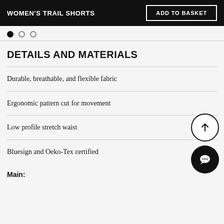WOMEN'S TRAIL SHORTS | ADD TO BASKET
DETAILS AND MATERIALS
Durable, breathable, and flexible fabric
Ergonomic pattern cut for movement
Low profile stretch waist
Bluesign and Oeko-Tex certified
Main: